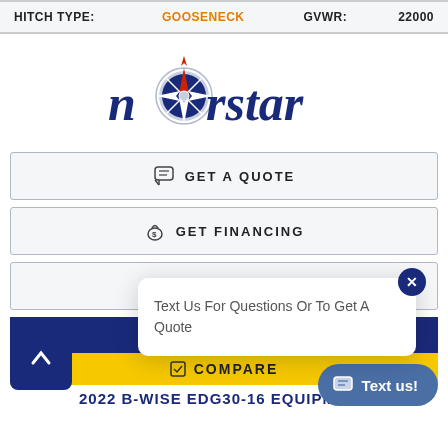| HITCH TYPE: | GOOSENECK | GVWR: | 22000 |
| --- | --- | --- | --- |
[Figure (logo): Norstar logo with compass rose icon replacing the 'o' in norstar, navy blue text with red compass star]
GET A QUOTE
GET FINANCING
CONTACT US
Text Us For Questions Or To Get A Quote
COMPARE
2022 B-WISE EDG30-16 EQUIPMENT